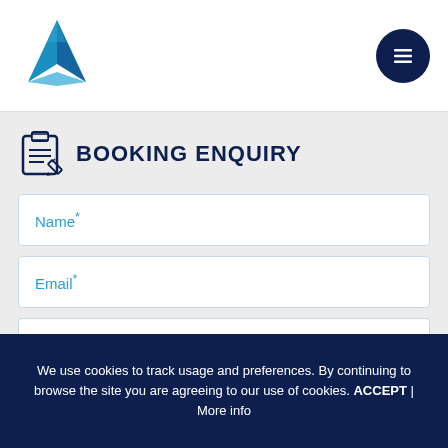[Figure (logo): Blue sailboat/triangle logo in header]
[Figure (other): Hamburger menu button (three horizontal lines) in dark navy circle]
BOOKING ENQUIRY
Name*
Email*
Phone
We use cookies to track usage and preferences. By continuing to browse the site you are agreeing to our use of cookies. ACCEPT | More info